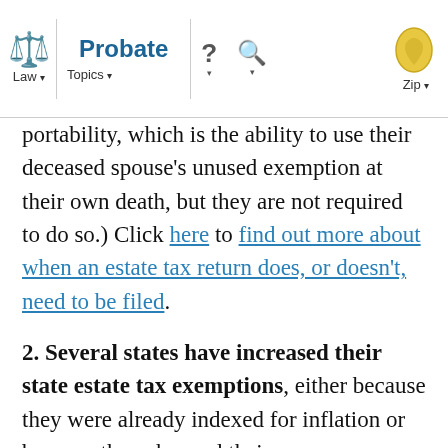Probate | Law | Topics | ? | Search | Zip
portability, which is the ability to use their deceased spouse's unused exemption at their own death, but they are not required to do so.) Click here to find out more about when an estate tax return does, or doesn't, need to be filed.
2. Several states have increased their state estate tax exemptions, either because they were already indexed for inflation or because they changed their